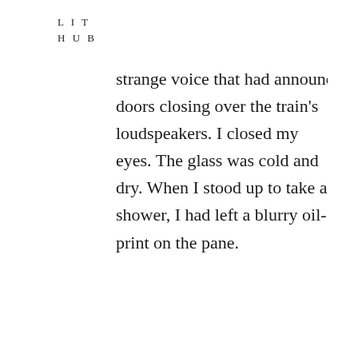L I T
H U B
strange voice that had announced doors closing over the train's loudspeakers. I closed my eyes. The glass was cold and dry. When I stood up to take a shower, I had left a blurry oil-print on the pane.